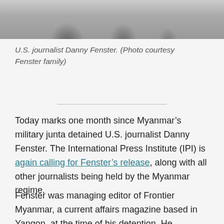[Figure (photo): Black and white photograph showing U.S. journalist Danny Fenster, partial view at top of page]
U.S. journalist Danny Fenster. (Photo courtesy Fenster family)
Today marks one month since Myanmar’s military junta detained U.S. journalist Danny Fenster. The International Press Institute (IPI) is again calling for Fenster’s release, along with all other journalists being held by the Myanmar regime.
Fenster was managing editor of Frontier Myanmar, a current affairs magazine based in Yangon, at the time of his detention. He